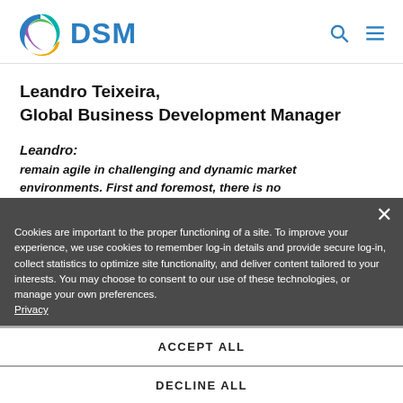DSM logo and navigation header
Leandro Teixeira,
Global Business Development Manager
Leandro:
remain agile in challenging and dynamic market environments. First and foremost, there is no ... leadership to continue to deploy capital via significant investments in our pharma business. To ... dedicated global and local pharma teams with ... relevant laws and regulations, and the scale and
Cookies are important to the proper functioning of a site. To improve your experience, we use cookies to remember log-in details and provide secure log-in, collect statistics to optimize site functionality, and deliver content tailored to your interests. You may choose to consent to our use of these technologies, or manage your own preferences. Privacy
ACCEPT ALL
DECLINE ALL
MANAGE SETTINGS